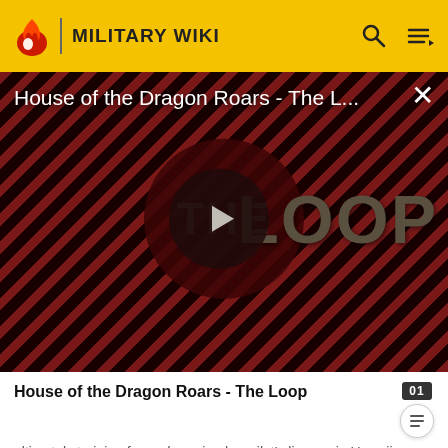MILITARY WIKI
[Figure (screenshot): Video thumbnail for 'House of the Dragon Roars - The Loop' showing diagonal dark red striped background with large text 'THE LOOP' and a circular play button in the center. A dark circle overlays the left side with 'THE' text visible.]
House of the Dragon Roars - The L...
House of the Dragon Roars - The Loop
ultimately training for and earning her pilot's license in Hawaii.
Pearl Harbor attack